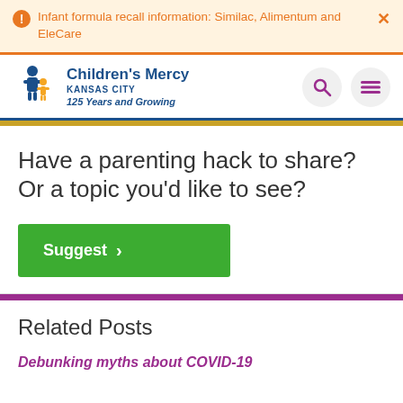Infant formula recall information: Similac, Alimentum and EleCare
[Figure (logo): Children's Mercy Kansas City logo with tagline '125 Years and Growing']
Have a parenting hack to share? Or a topic you'd like to see?
Suggest >
Related Posts
Debunking myths about COVID-19